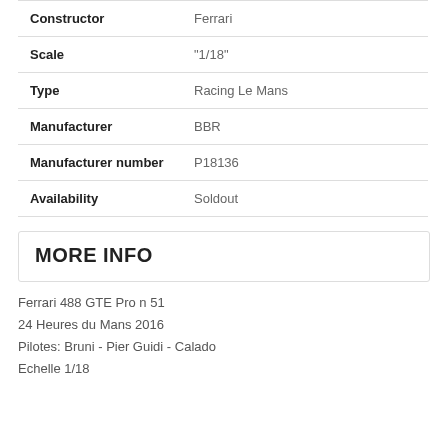| Field | Value |
| --- | --- |
| Constructor | Ferrari |
| Scale | "1/18" |
| Type | Racing Le Mans |
| Manufacturer | BBR |
| Manufacturer number | P18136 |
| Availability | Soldout |
MORE INFO
Ferrari 488 GTE Pro n 51
24 Heures du Mans 2016
Pilotes: Bruni - Pier Guidi - Calado
Echelle 1/18